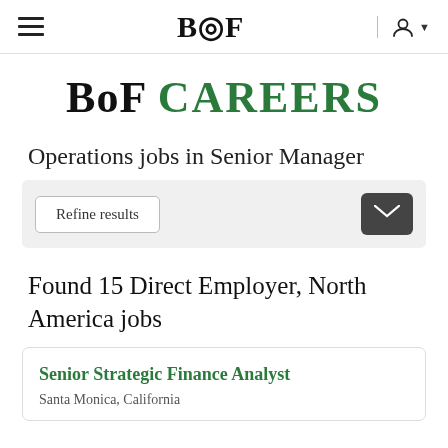BoF
BoF CAREERS
Operations jobs in Senior Manager
Refine results
Found 15 Direct Employer, North America jobs
Senior Strategic Finance Analyst
Santa Monica, California